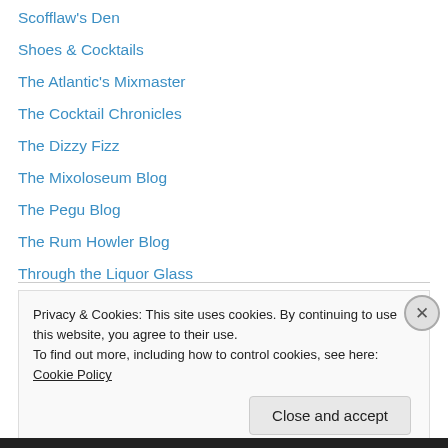Scofflaw's Den
Shoes & Cocktails
The Atlantic's Mixmaster
The Cocktail Chronicles
The Dizzy Fizz
The Mixoloseum Blog
The Pegu Blog
The Rum Howler Blog
Through the Liquor Glass
Trader Tiki
Underhill-Lounge
Whisky Party
Privacy & Cookies: This site uses cookies. By continuing to use this website, you agree to their use. To find out more, including how to control cookies, see here: Cookie Policy